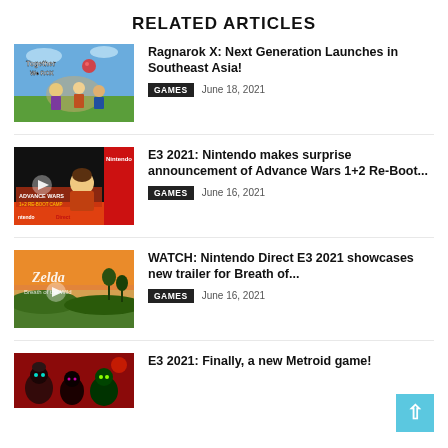RELATED ARTICLES
[Figure (photo): Ragnarok X: Next Generation promotional artwork with colorful fantasy characters]
Ragnarok X: Next Generation Launches in Southeast Asia!
GAMES   June 18, 2021
[Figure (photo): Nintendo Direct screenshot featuring anime character and Advance Wars branding with play button overlay]
E3 2021: Nintendo makes surprise announcement of Advance Wars 1+2 Re-Boot...
GAMES   June 16, 2021
[Figure (photo): Legend of Zelda: Breath of the Wild screenshot with play button overlay]
WATCH: Nintendo Direct E3 2021 showcases new trailer for Breath of...
GAMES   June 16, 2021
[Figure (photo): Metroid game artwork with dark red background and alien creatures]
E3 2021: Finally, a new Metroid game!